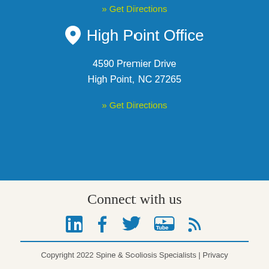» Get Directions
High Point Office
4590 Premier Drive
High Point, NC 27265
» Get Directions
Connect with us
[Figure (infographic): Social media icons: LinkedIn, Facebook, Twitter, YouTube, RSS feed]
Copyright 2022 Spine & Scoliosis Specialists | Privacy